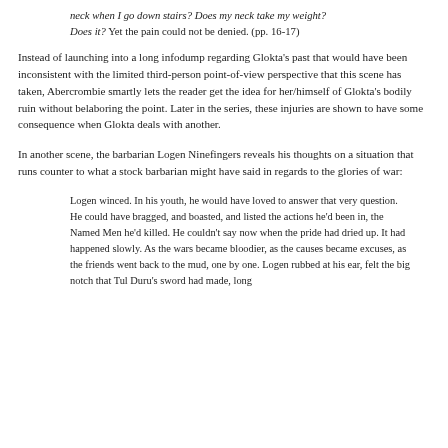neck when I go down stairs? Does my neck take my weight? Does it? Yet the pain could not be denied. (pp. 16-17)
Instead of launching into a long infodump regarding Glokta's past that would have been inconsistent with the limited third-person point-of-view perspective that this scene has taken, Abercrombie smartly lets the reader get the idea for her/himself of Glokta's bodily ruin without belaboring the point. Later in the series, these injuries are shown to have some consequence when Glokta deals with another.
In another scene, the barbarian Logen Ninefingers reveals his thoughts on a situation that runs counter to what a stock barbarian might have said in regards to the glories of war:
Logen winced. In his youth, he would have loved to answer that very question. He could have bragged, and boasted, and listed the actions he'd been in, the Named Men he'd killed. He couldn't say now when the pride had dried up. It had happened slowly. As the wars became bloodier, as the causes became excuses, as the friends went back to the mud, one by one. Logen rubbed at his ear, felt the big notch that Tul Duru's sword had made, long